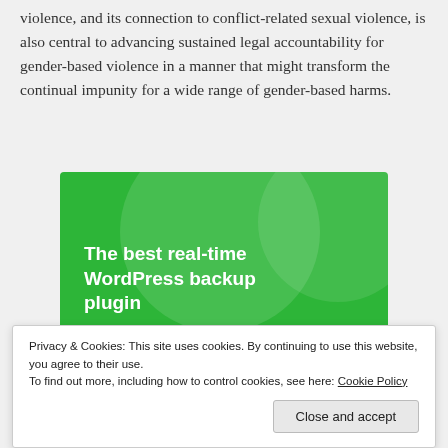violence, and its connection to conflict-related sexual violence, is also central to advancing sustained legal accountability for gender-based violence in a manner that might transform the continual impunity for a wide range of gender-based harms.
[Figure (infographic): Green advertisement banner for WordPress backup plugin with text 'The best real-time WordPress backup plugin' and a 'Back up your site' button]
Privacy & Cookies: This site uses cookies. By continuing to use this website, you agree to their use.
To find out more, including how to control cookies, see here: Cookie Policy